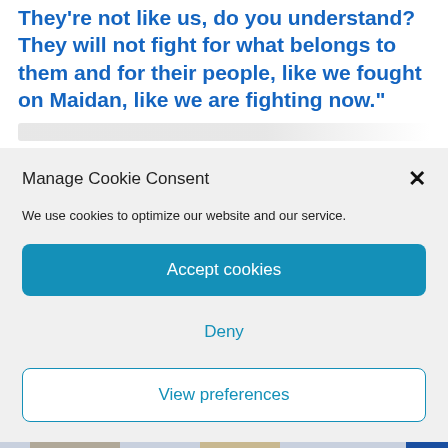They're not like us, do you understand? They will not fight for what belongs to them and for their people, like we fought on Maidan, like we are fighting now.”
[Figure (screenshot): Cookie consent modal overlay on a webpage, with title 'Manage Cookie Consent', description text, Accept cookies button, Deny button, and View preferences button]
[Figure (photo): Photo of people at an event with Ukrainian human rights ombudsman branding (Уповноважений Верховної Ради України з прав людини logo visible)]